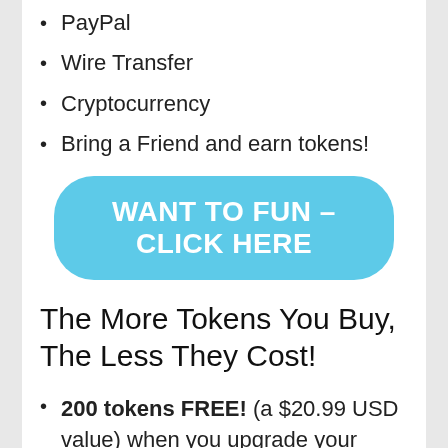PayPal
Wire Transfer
Cryptocurrency
Bring a Friend and earn tokens!
[Figure (other): Sky-blue rounded button with white uppercase text: WANT TO FUN – CLICK HERE]
The More Tokens You Buy, The Less They Cost!
200 tokens FREE! (a $20.99 USD value) when you upgrade your account. Unlock PM & remove ads